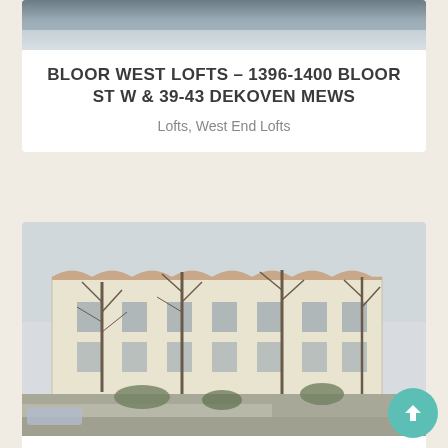[Figure (photo): Top portion of building photo partially visible at the top of the first card]
BLOOR WEST LOFTS – 1396-1400 BLOOR ST W & 39-43 DEKOVEN MEWS
Lofts, West End Lofts
[Figure (photo): Exterior photo of Bloorline Lofts building at 284 St Helens, a white/cream multi-storey industrial converted loft building with bare trees in front, street and sidewalk visible]
BLOORLINE LOFTS – 284 ST HELENS